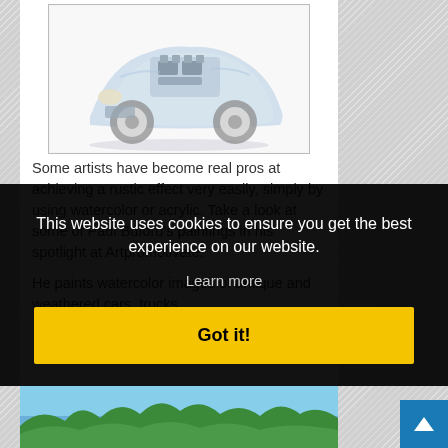[Figure (illustration): Watercolor illustration of a vintage/antique car shown from the front-top angle, partially cutaway to reveal engine, with blue and white coloring on a white background.]
Some artists have become real pros at achieving a rustic effect very easily, simply by using watercolor or acrylic. Take a look at some of Paul Buford's paintings in his spotlight at Artpromotivate.
He paints watercolor images of antique and weathered cars, trucks,
This website uses cookies to ensure you get the best experience on our website.
Learn more
Got it!
[Figure (photo): Bottom strip showing a landscape photo with blue sky and green trees/foliage.]